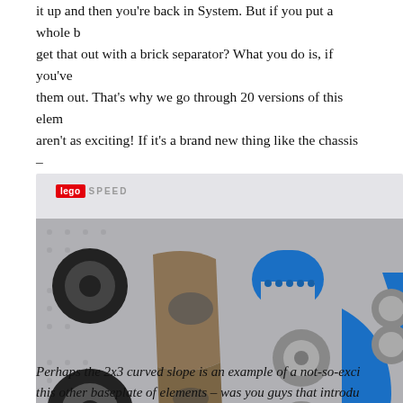it up and then you're back in System. But if you put a whole b... get that out with a brick separator? What you do is, if you've... them out. That's why we go through 20 versions of this elem... aren't as exciting! If it's a brand new thing like the chassis – really exciting.
[Figure (photo): LEGO Speed Champions set pieces laid out on a gray baseplate, including tires, chassis body, blue arch pieces, wheels, blue wedge plates, and various gray pieces. The LEGO Speed logo is visible in the top left corner. Watermark reads NEW ELEMENTARY.]
Perhaps the 2x3 curved slope is an example of a not-so-exci... this other baseplate of elements – was you guys that introdu...